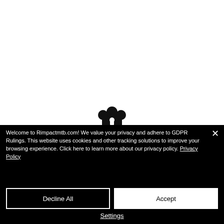[Figure (logo): Rimpactmtb logo icon — a stylized padlock/shield shape in black]
Welcome to Rimpactmtb.com! We value your privacy and adhere to GDPR Rulings. This website uses cookies and other tracking solutions to improve your browsing experience. Click here to learn more about our privacy policy. Privacy Policy
Decline All
Accept
Settings